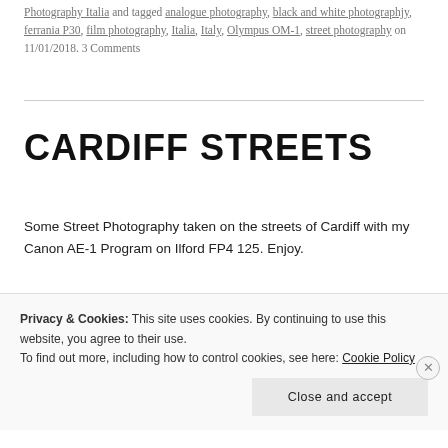Photography Italia and tagged analogue photography, black and white photographjy, ferrania P30, film photography, Italia, Italy, Olympus OM-1, street photography on 11/01/2018. 3 Comments
CARDIFF STREETS
Some Street Photography taken on the streets of Cardiff with my Canon AE-1 Program on Ilford FP4 125. Enjoy.
[Figure (photo): Black and white street photography image strip, partially visible]
Privacy & Cookies: This site uses cookies. By continuing to use this website, you agree to their use.
To find out more, including how to control cookies, see here: Cookie Policy
Close and accept